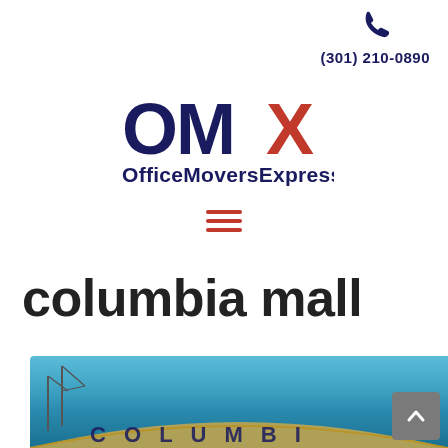(301) 210-0890
[Figure (logo): OMX Office Movers Express logo with blue OM and red X, text 'OfficeMoversExpress' below in blue]
[Figure (other): Hamburger menu icon — three horizontal red lines]
columbia mall
[Figure (photo): Exterior photo of Columbia Mall building with blue sky background, showing the curved golden facade with letters COLUMBI... partially visible]